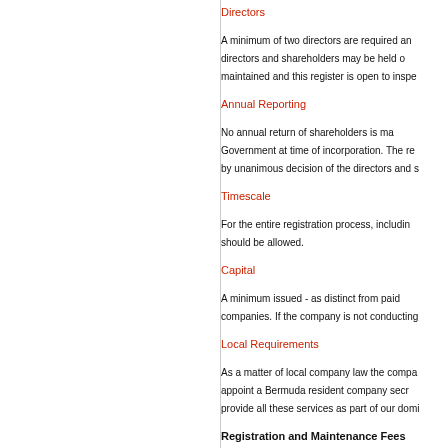Directors
A minimum of two directors are required and meetings of directors and shareholders may be held outside Bermuda. A register is maintained and this register is open to inspection.
Annual Reporting
No annual return of shareholders is made to the Bermuda Government at time of incorporation. The registered office can be changed by unanimous decision of the directors and shareholders.
Timescale
For the entire registration process, including all approvals, 5 days should be allowed.
Capital
A minimum issued - as distinct from paid up - capital applies to companies. If the company is not conducting business in Bermuda.
Local Requirements
As a matter of local company law the company is required to appoint a Bermuda resident company secretary. We are able to provide all these services as part of our domiciliation services.
Registration and Maintenance Fees
Registration Fee
Our total charge for a Bermuda Exempted Company registration includes first year licence fee, registered agent and other fees.